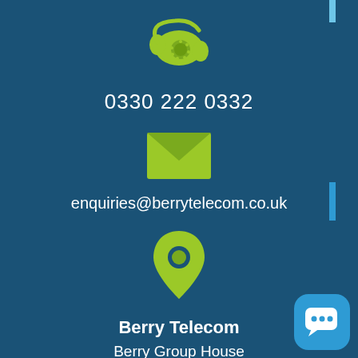[Figure (illustration): Green retro telephone icon]
0330 222 0332
[Figure (illustration): Green envelope/email icon]
enquiries@berrytelecom.co.uk
[Figure (illustration): Green map location pin icon]
Berry Telecom
Berry Group House
Lysander Way
Old Sarum Park
Old Sarum
Salisbury, Wiltshire
[Figure (illustration): Light blue chat bubble icon with ellipsis dots, bottom right corner]